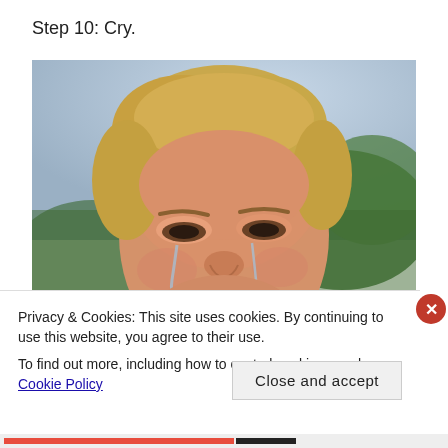Step 10: Cry.
[Figure (photo): A young blonde man with a distressed, crying expression on his face, outdoors with green foliage in the blurred background. This is the well-known 'Dawson crying' meme image.]
Privacy & Cookies: This site uses cookies. By continuing to use this website, you agree to their use.
To find out more, including how to control cookies, see here: Cookie Policy
Close and accept